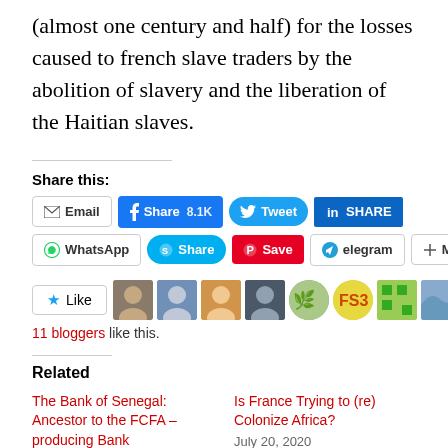(almost one century and half) for the losses caused to french slave traders by the abolition of slavery and the liberation of the Haitian slaves.
Share this:
[Figure (screenshot): Social share buttons row 1: Email, Facebook Share 8.1K, Tweet, LinkedIn SHARE]
[Figure (screenshot): Social share buttons row 2: WhatsApp, Skype Share, Pinterest Save, Telegram, More]
[Figure (screenshot): Like button with star icon and 10 blogger avatar thumbnails]
11 bloggers like this.
Related
The Bank of Senegal: Ancestor to the FCFA – producing Bank
September 7, 2020
Is France Trying to (re) Colonize Africa?
July 20, 2020